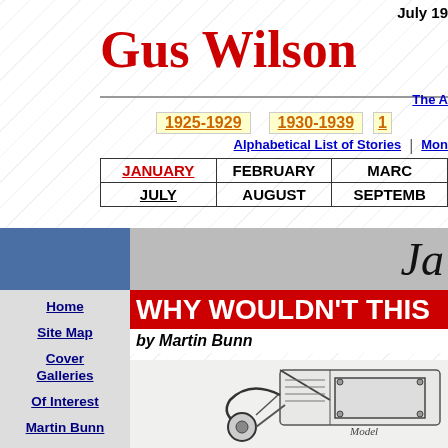July 19...
Gus Wilson...
The A...
1925-1929   1930-1939
Alphabetical List of Stories   Mon...
| JANUARY | FEBRUARY | MARC... |
| --- | --- | --- |
| JULY | AUGUST | SEPTEMBE... |
Jan...
Home
Site Map
Cover Galleries
Of Interest
Martin Bunn
Gus Wilson
WHY WOULDN'T THIS ...
by Martin Bunn
[Figure (illustration): Black and white illustration of a vintage car engine or mechanical part]